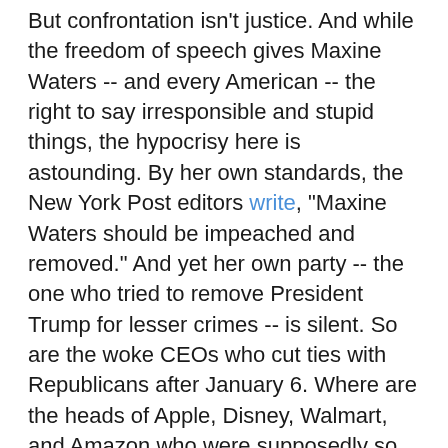But confrontation isn't justice. And while the freedom of speech gives Maxine Waters -- and every American -- the right to say irresponsible and stupid things, the hypocrisy here is astounding. By her own standards, the New York Post editors write, "Maxine Waters should be impeached and removed." And yet her own party -- the one who tried to remove President Trump for lesser crimes -- is silent. So are the woke CEOs who cut ties with Republicans after January 6. Where are the heads of Apple, Disney, Walmart, and Amazon who were supposedly so committed to "the principles of democracy" and a "peaceful transfer of power" that they stopped contributions to senators who condemned the Capitol siege? M.I.A.